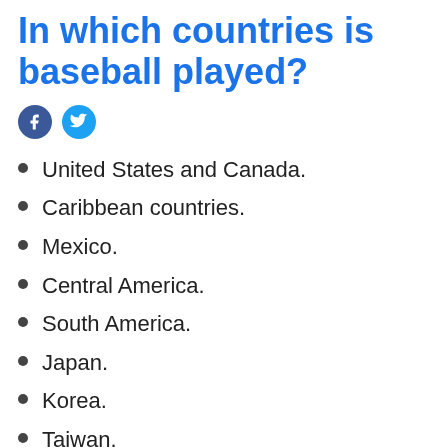In which countries is baseball played?
United States and Canada.
Caribbean countries.
Mexico.
Central America.
South America.
Japan.
Korea.
Taiwan.
Video answer: Which sport is